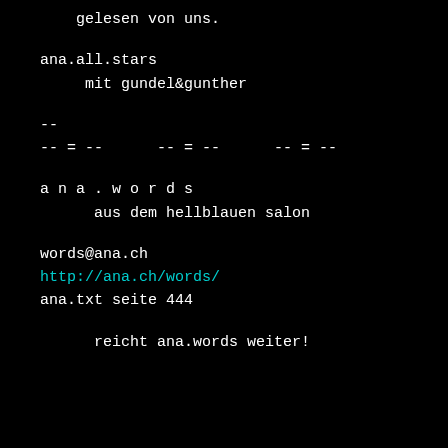gelesen von uns.
ana.all.stars
    mit gundel&gunther
--
-- = --      -- = --      -- = --
a n a . w o r d s
     aus dem hellblauen salon
words@ana.ch
http://ana.ch/words/
ana.txt seite 444
reicht ana.words weiter!